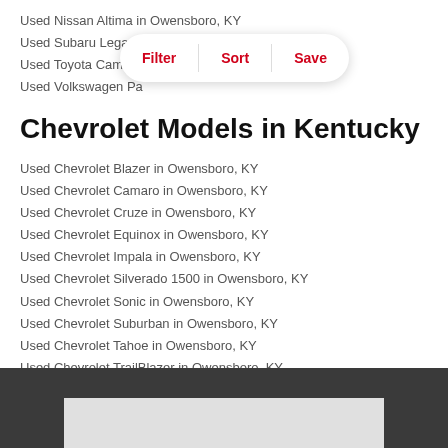Used Nissan Altima in Owensboro, KY
Used Subaru Legacy in Owensboro, KY
Used Toyota Camry in Owensboro, KY
Used Volkswagen Passat in Owensboro, KY
[Figure (screenshot): Filter/Sort/Save pill toolbar overlay]
Chevrolet Models in Kentucky
Used Chevrolet Blazer in Owensboro, KY
Used Chevrolet Camaro in Owensboro, KY
Used Chevrolet Cruze in Owensboro, KY
Used Chevrolet Equinox in Owensboro, KY
Used Chevrolet Impala in Owensboro, KY
Used Chevrolet Silverado 1500 in Owensboro, KY
Used Chevrolet Sonic in Owensboro, KY
Used Chevrolet Suburban in Owensboro, KY
Used Chevrolet Tahoe in Owensboro, KY
Used Chevrolet TrailBlazer in Owensboro, KY